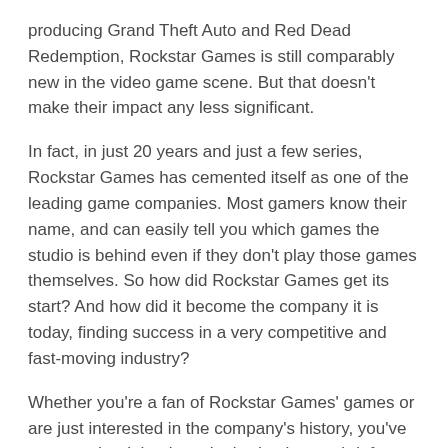producing Grand Theft Auto and Red Dead Redemption, Rockstar Games is still comparably new in the video game scene. But that doesn't make their impact any less significant.
In fact, in just 20 years and just a few series, Rockstar Games has cemented itself as one of the leading game companies. Most gamers know their name, and can easily tell you which games the studio is behind even if they don't play those games themselves. So how did Rockstar Games get its start? And how did it become the company it is today, finding success in a very competitive and fast-moving industry?
Whether you're a fan of Rockstar Games' games or are just interested in the company's history, you've come to the right place. Let's check out a brief History of Rockstar Games!